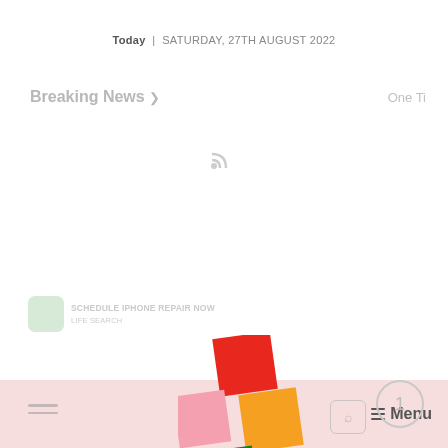Today | SATURDAY, 27TH AUGUST 2022
Breaking News >
One Ti
[Figure (logo): RSS feed icon]
[Figure (logo): Small advertisement banner with green icon and text: Schedule iPhone Repair Now Life Search]
[Figure (logo): App logo composed of four colored squares: red (top), pink (left), orange (right), green (bottom) arranged in a plus/cross pattern, slightly rotated]
[Figure (other): Navigation bar with hamburger menu lines on left, search icon, and Menu label on right]
1